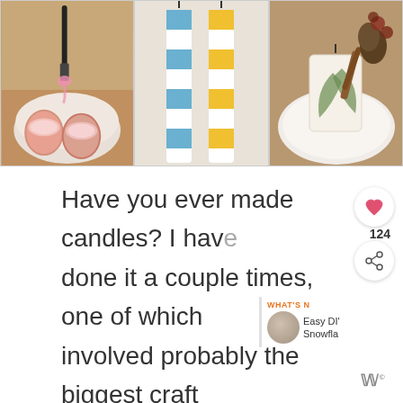[Figure (photo): Three-image horizontal strip showing DIY candle crafts: left image shows pink egg shell candles in a bowl with a pen/brush, middle image shows tall striped candles in blue/white and yellow/white patterns, right image shows a wax candle decorated with botanicals and spices on a plate.]
Have you ever made candles? I have done it a couple times, one of which involved probably the biggest craft fail I have EVER had. (don't let this deter you, it was a freak accident!)